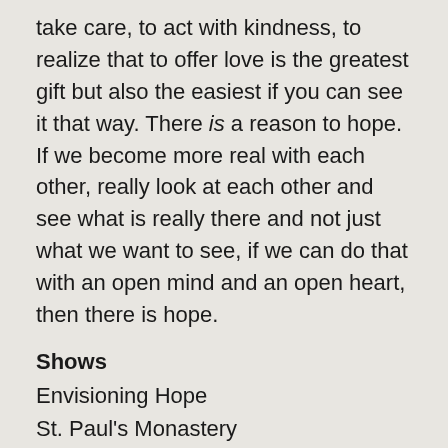take care, to act with kindness, to realize that to offer love is the greatest gift but also the easiest if you can see it that way. There is a reason to hope. If we become more real with each other, really look at each other and see what is really there and not just what we want to see, if we can do that with an open mind and an open heart, then there is hope.
Shows
Envisioning Hope
St. Paul's Monastery
St. Paul, MN